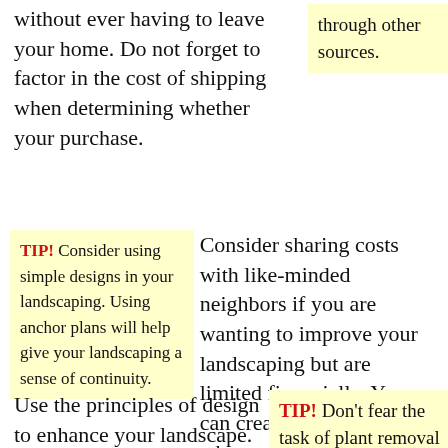without ever having to leave your home. Do not forget to factor in the cost of shipping when determining whether your purchase.
through other sources.
TIP! Consider using simple designs in your landscaping. Using anchor plans will help give your landscaping a sense of continuity.
Consider sharing costs with like-minded neighbors if you are wanting to improve your landscaping but are limited financially. You can create a schedule as to who uses what equipment at a certain time.
Use the principles of design to enhance your landscape.
TIP! Don't fear the task of plant removal